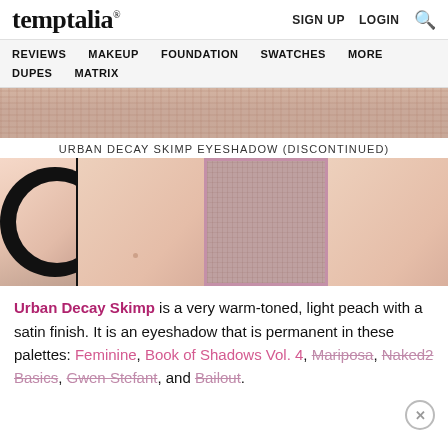temptalia® | SIGN UP  LOGIN  🔍
REVIEWS  MAKEUP  FOUNDATION  SWATCHES  MORE  DUPES  MATRIX
[Figure (photo): Close-up of a warm peach/rose-toned knit fabric texture]
URBAN DECAY SKIMP EYESHADOW (DISCONTINUED)
[Figure (photo): Eyeshadow swatch comparison: pan on left, skin swatch, center closeup with pink border highlight, skin swatch, pan on right]
Urban Decay Skimp is a very warm-toned, light peach with a satin finish. It is an eyeshadow that is permanent in these palettes: Feminine, Book of Shadows Vol. 4, Mariposa, Naked2 Basics, Gwen Stefant, and Bailout.